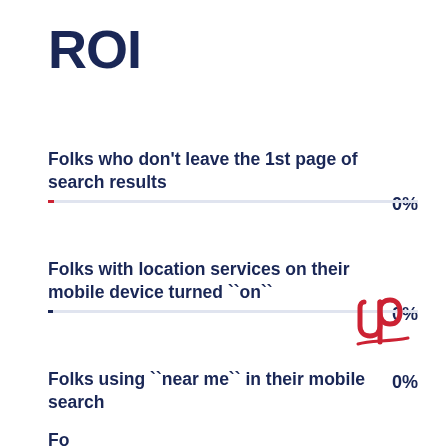ROI
Folks who don't leave the 1st page of search results
Folks with location services on their mobile device turned ``on``
Folks using ``near me`` in their mobile search
Fo... (partially visible at bottom)